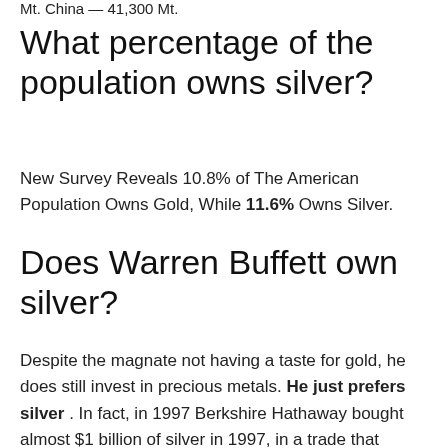Mt. China — 41,300 Mt.
What percentage of the population owns silver?
New Survey Reveals 10.8% of The American Population Owns Gold, While 11.6% Owns Silver.
Does Warren Buffett own silver?
Despite the magnate not having a taste for gold, he does still invest in precious metals. He just prefers silver . In fact, in 1997 Berkshire Hathaway bought almost $1 billion of silver in 1997, in a trade that